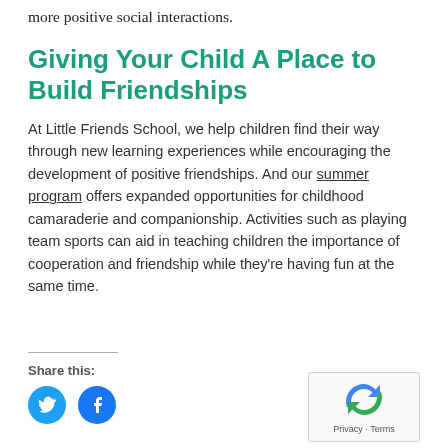more positive social interactions.
Giving Your Child A Place to Build Friendships
At Little Friends School, we help children find their way through new learning experiences while encouraging the development of positive friendships. And our summer program offers expanded opportunities for childhood camaraderie and companionship. Activities such as playing team sports can aid in teaching children the importance of cooperation and friendship while they’re having fun at the same time.
Share this:
[Figure (illustration): Twitter share button (blue circle with bird icon) and Facebook share button (blue circle with f icon)]
[Figure (other): reCAPTCHA widget showing rotating arrows logo with Privacy and Terms text]